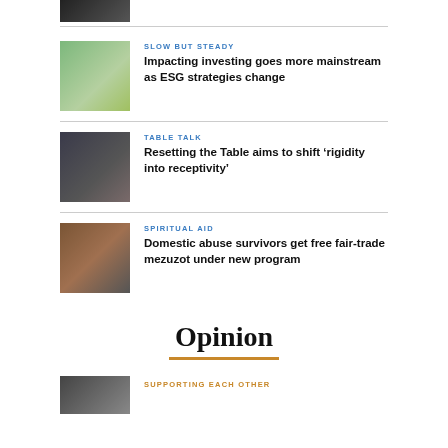[Figure (photo): Partial thumbnail of a person at top of page, cropped]
SLOW BUT STEADY
Impacting investing goes more mainstream as ESG strategies change
[Figure (photo): Green plants with coins, representing investing]
TABLE TALK
Resetting the Table aims to shift ‘rigidity into receptivity’
[Figure (photo): People at a table meeting/discussion]
SPIRITUAL AID
Domestic abuse survivors get free fair-trade mezuzot under new program
[Figure (photo): A door with a mezuzah]
Opinion
SUPPORTING EACH OTHER